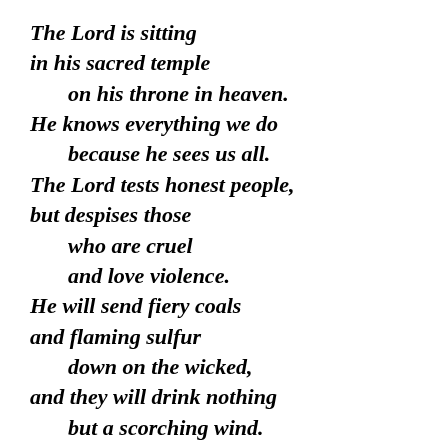The Lord is sitting
in his sacred temple
    on his throne in heaven.
He knows everything we do
    because he sees us all.
The Lord tests honest people,
but despises those
    who are cruel
    and love violence.
He will send fiery coals
and flaming sulfur
    down on the wicked,
and they will drink nothing
    but a scorching wind.